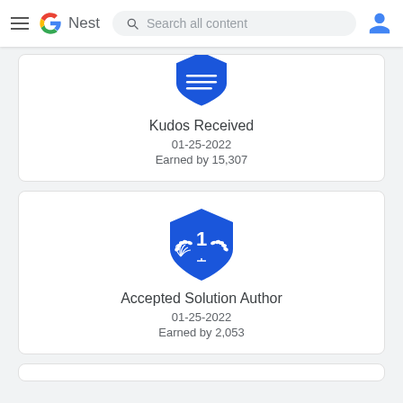Google Nest — Search all content
[Figure (illustration): Blue shield badge for Kudos Received, partially cropped at top]
Kudos Received
01-25-2022
Earned by 15,307
[Figure (illustration): Blue shield badge with laurel wreath and number 1 for Accepted Solution Author]
Accepted Solution Author
01-25-2022
Earned by 2,053